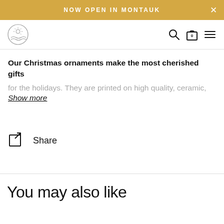NOW OPEN IN MONTAUK
[Figure (logo): Circular logo with sun and waves design]
Our Christmas ornaments make the most cherished gifts for the holidays. They are printed on high quality, ceramic,
Show more
Share
You may also like